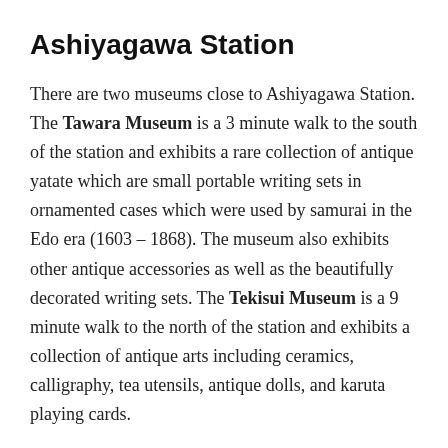Ashiyagawa Station
There are two museums close to Ashiyagawa Station. The Tawara Museum is a 3 minute walk to the south of the station and exhibits a rare collection of antique yatate which are small portable writing sets in ornamented cases which were used by samurai in the Edo era (1603 – 1868). The museum also exhibits other antique accessories as well as the beautifully decorated writing sets. The Tekisui Museum is a 9 minute walk to the north of the station and exhibits a collection of antique arts including ceramics, calligraphy, tea utensils, antique dolls, and karuta playing cards.